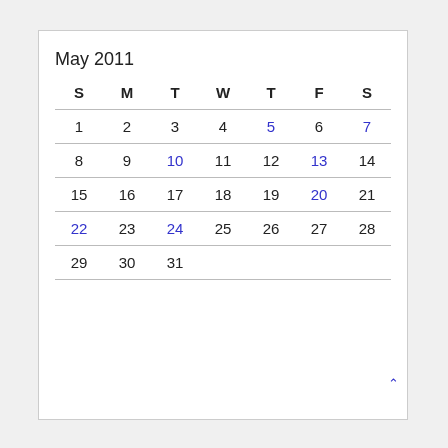May 2011
| S | M | T | W | T | F | S |
| --- | --- | --- | --- | --- | --- | --- |
| 1 | 2 | 3 | 4 | 5 | 6 | 7 |
| 8 | 9 | 10 | 11 | 12 | 13 | 14 |
| 15 | 16 | 17 | 18 | 19 | 20 | 21 |
| 22 | 23 | 24 | 25 | 26 | 27 | 28 |
| 29 | 30 | 31 |  |  |  |  |